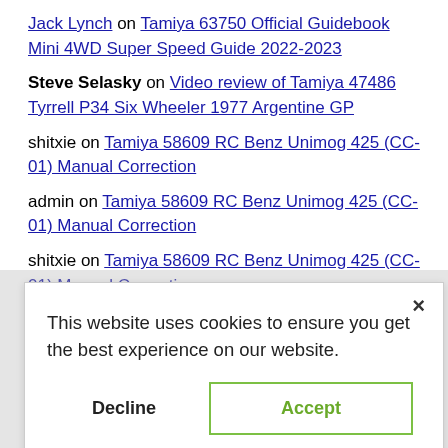Jack Lynch on Tamiya 63750 Official Guidebook Mini 4WD Super Speed Guide 2022-2023
Steve Selasky on Video review of Tamiya 47486 Tyrrell P34 Six Wheeler 1977 Argentine GP
shitxie on Tamiya 58609 RC Benz Unimog 425 (CC-01) Manual Correction
admin on Tamiya 58609 RC Benz Unimog 425 (CC-01) Manual Correction
shitxie on Tamiya 58609 RC Benz Unimog 425 (CC-01) Manual Correction
[Figure (screenshot): Cookie consent modal dialog with 'Decline' and 'Accept' buttons and a close (×) button, overlaying page content. Text reads: 'This website uses cookies to ensure you get the best experience on our website.']
Fukui
Z &
25380 1/35 British Cruiser Tank A34 Comet